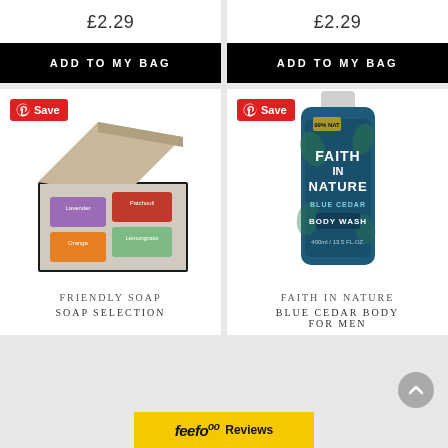£2.29
£2.29
ADD TO MY BAG
ADD TO MY BAG
[Figure (photo): Open box with four soap bars: Lavender, Patchouli, Orange, and green. Save Pinterest badge top-left.]
[Figure (photo): Faith in Nature Blue Cedar Body Wash bottle (400ml). Save Pinterest badge top-left.]
FRIENDLY SOAP
FAITH IN NATURE
SOAP SELECTION
BLUE CEDAR BODY FOR MEN
feefo Reviews